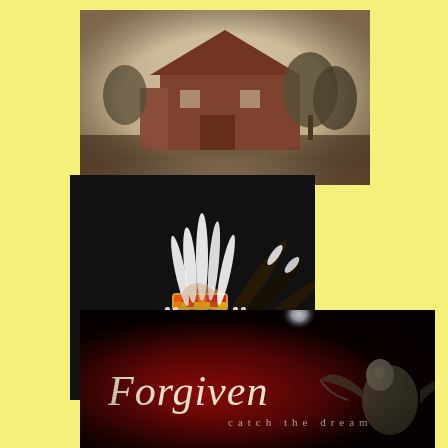[Figure (photo): Sepia-toned photograph of an old red barn with trees in the background, vintage style]
[Figure (photo): Portrait photo of a Native American man wearing a full traditional war bonnet headdress with white and dark feathers, and a yellow/orange beaded buckskin jacket, against dark background]
[Figure (photo): Album cover or promotional image with dark red background, cursive text reading 'Forgiven' and below it 'catch the dream', with a blurred eagle or bird figure on the right side]